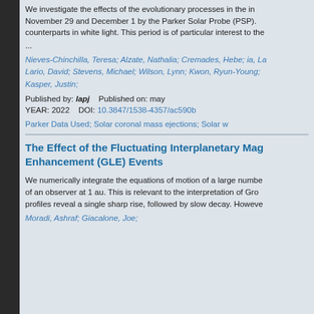We investigate the effects of the evolutionary processes in the in November 29 and December 1 by the Parker Solar Probe (PSP). counterparts in white light. This period is of particular interest to the
...
Nieves-Chinchilla, Teresa; Alzate, Nathalia; Cremades, Hebe; ia, La Lario, David; Stevens, Michael; Wilson, Lynn; Kwon, Ryun-Young; Kasper, Justin;
Published by: lapj    Published on: may
YEAR: 2022    DOI: 10.3847/1538-4357/ac590b
Parker Data Used; Solar coronal mass ejections; Solar w
The Effect of the Fluctuating Interplanetary Mag Enhancement (GLE) Events
We numerically integrate the equations of motion of a large numbe of an observer at 1 au. This is relevant to the interpretation of Gro profiles reveal a single sharp rise, followed by slow decay. Howeve
Moradi, Ashraf; Giacalone, Joe;